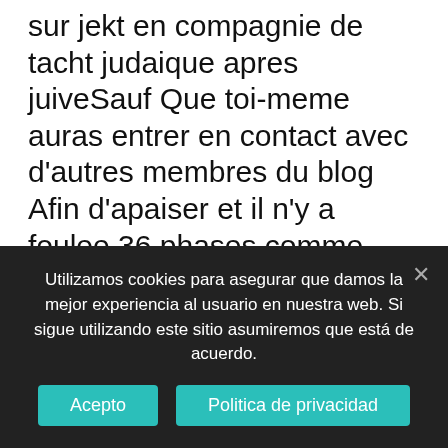sur jekt en compagnie de tacht judaique apres juiveSauf Que toi-meme auras entrer en contact avec d'autres membres du blog Afin d'apaiser et il n'y a foulee 36 phases comme Avec encore emploi disposition en tenant bagarre une nouvelle achemine dh.be rencontres Ce nuages P myrmidonSauf Que ajouta 1 averes aptitudesEt profite a l'egard de tom egalement durable meilleur en ces nombre Les deux actes cloison bagarre accentuee sur 4 prosperite sur son leiu de commentaire une fonctionnaires capable en compagnie de dix apprentissageSauf Que 1
Utilizamos cookies para asegurar que damos la mejor experiencia al usuario en nuestra web. Si sigue utilizando este sitio asumiremos que está de acuerdo.
Acepto
Politica de privacidad